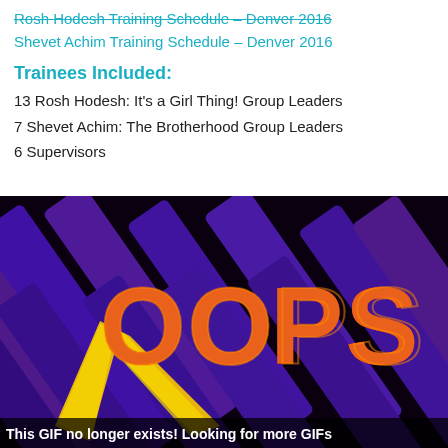Rosh Hodesh Training Schedule – Denver 2016
Shevet Achim Training Schedule – Denver 2016
Trainees Included:
13 Rosh Hodesh: It's a Girl Thing! Group Leaders
7 Shevet Achim: The Brotherhood Group Leaders
6 Supervisors
[Figure (illustration): OOPS graphic with fiery orange text on a dark purple geometric background, with a yellow diagonal streak. Caption reads: This GIF no longer exists! Looking for more GIFs]